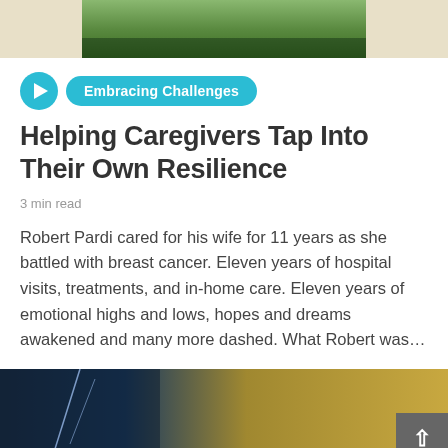[Figure (photo): Partial top image showing outdoor/nature background with green foliage]
Embracing Challenges
Helping Caregivers Tap Into Their Own Resilience
3 min read
Robert Pardi cared for his wife for 11 years as she battled with breast cancer. Eleven years of hospital visits, treatments, and in-home care. Eleven years of emotional highs and lows, hopes and dreams awakened and many more dashed. What Robert was...
[Figure (photo): Dramatic landscape image with lightning storm on the left merging into golden cloudy sky on the right, with a scroll-to-top button overlay]